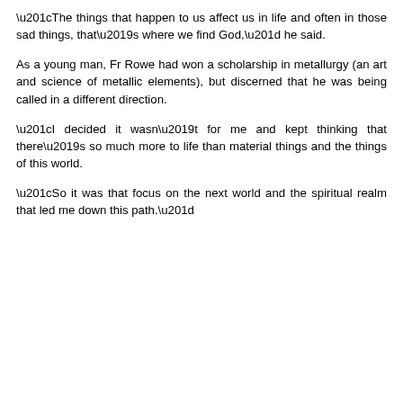“The things that happen to us affect us in life and often in those sad things, that’s where we find God,” he said.
As a young man, Fr Rowe had won a scholarship in metallurgy (an art and science of metallic elements), but discerned that he was being called in a different direction.
“I decided it wasn’t for me and kept thinking that there’s so much more to life than material things and the things of this world.
“So it was that focus on the next world and the spiritual realm that led me down this path.”